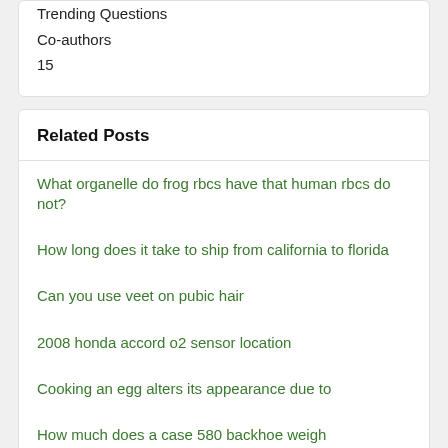Similar Asks
Trending Questions
Co-authors
15
Related Posts
What organelle do frog rbcs have that human rbcs do not?
How long does it take to ship from california to florida
Can you use veet on pubic hair
2008 honda accord o2 sensor location
Cooking an egg alters its appearance due to
How much does a case 580 backhoe weigh